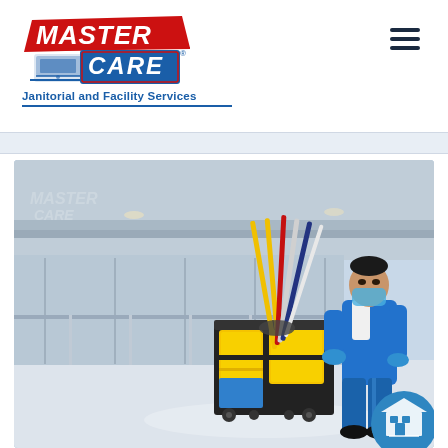[Figure (logo): Master Care logo with red stylized text MASTER and blue CARE, with a laptop/cleaning icon. Below: tagline 'Janitorial and Facility Services' in bold blue.]
[Figure (photo): A janitorial worker in blue uniform and face mask pushing a yellow cleaning cart with mops and buckets in a modern building corridor. Master Care watermark logo visible in upper left of photo. A blue circular icon with a building/storefront symbol visible at the bottom right.]